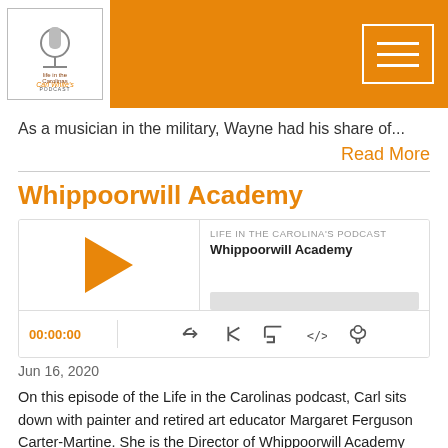Life in the Carolinas Podcast - header navigation
As a musician in the military, Wayne had his share of...
Read More
Whippoorwill Academy
[Figure (other): Podcast player widget showing 'Whippoorwill Academy' episode from Life in the Carolina's Podcast with play button, progress bar, time display 00:00:00, and control icons]
Jun 16, 2020
On this episode of the Life in the Carolinas podcast, Carl sits down with painter and retired art educator Margaret Ferguson Carter-Martine. She is the Director of Whippoorwill Academy and Village, which she inherited from her mother, Edith Carter.
Margaret considers her art to be a diary of her life. “My art